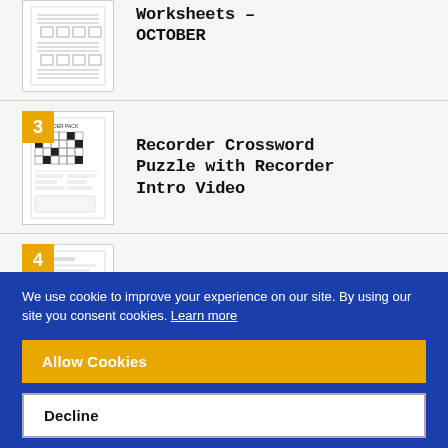[Figure (screenshot): Thumbnail of music worksheets document with number badge (partial, top cropped)]
Worksheets – OCTOBER
[Figure (screenshot): Thumbnail of Recorder Crossword Puzzle document with number badge 3]
Recorder Crossword Puzzle with Recorder Intro Video
[Figure (screenshot): Thumbnail of Creative Movement Culminating Task document with number badge 4]
Creative Movement Culminating Task
We use cookie to improve your experience on our site. By using our site you consent cookies. Learn more
Allow Cookies
Decline